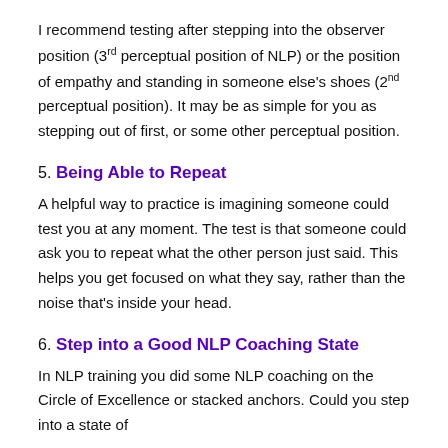I recommend testing after stepping into the observer position (3rd perceptual position of NLP) or the position of empathy and standing in someone else's shoes (2nd perceptual position). It may be as simple for you as stepping out of first, or some other perceptual position.
5. Being Able to Repeat
A helpful way to practice is imagining someone could test you at any moment. The test is that someone could ask you to repeat what the other person just said. This helps you get focused on what they say, rather than the noise that's inside your head.
6. Step into a Good NLP Coaching State
In NLP training you did some NLP coaching on the Circle of Excellence or stacked anchors. Could you step into a state of